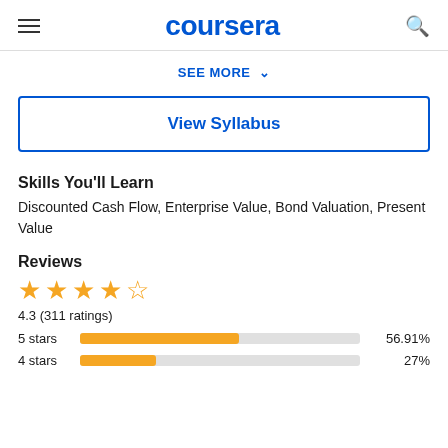coursera
SEE MORE ▾
View Syllabus
Skills You'll Learn
Discounted Cash Flow, Enterprise Value, Bond Valuation, Present Value
Reviews
4.3 (311 ratings)
[Figure (bar-chart): Rating distribution]